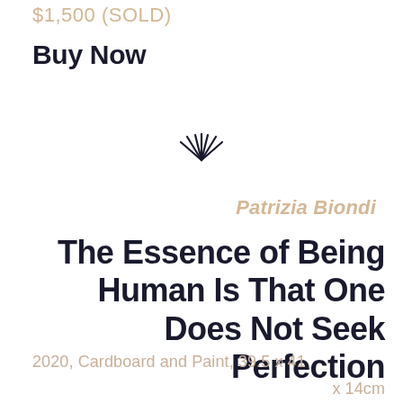$1,500 (SOLD)
Buy Now
[Figure (illustration): A small decorative sunburst / rays icon used as a section divider]
Patrizia Biondi
The Essence of Being Human Is That One Does Not Seek Perfection
2020, Cardboard and Paint, 39.5 x 41
x 14cm